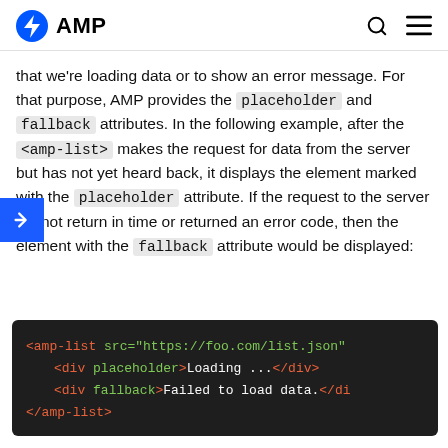AMP
that we're loading data or to show an error message. For that purpose, AMP provides the placeholder and fallback attributes. In the following example, after the <amp-list> makes the request for data from the server but has not yet heard back, it displays the element marked with the placeholder attribute. If the request to the server did not return in time or returned an error code, then the element with the fallback attribute would be displayed:
[Figure (screenshot): Code block on dark background showing AMP HTML code with amp-list element containing placeholder and fallback div elements]